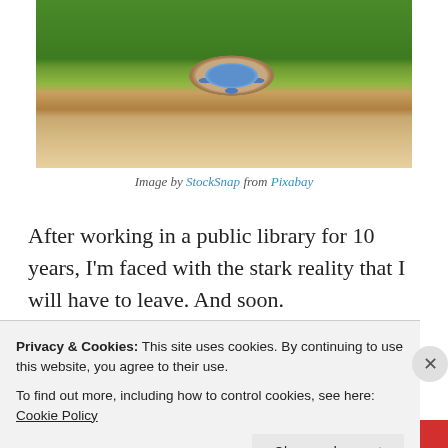[Figure (photo): A hobbit hole / fairy tale house embedded into a grassy hillside with a round blue door, surrounded by lush green plants and flowers, stone steps on the right, sandy path.]
Image by StockSnap from Pixabay
After working in a public library for 10 years, I’m faced with the stark reality that I will have to leave. And soon.
I don’t want to uproot myself like this because I am
Privacy & Cookies: This site uses cookies. By continuing to use this website, you agree to their use.
To find out more, including how to control cookies, see here: Cookie Policy
Close and accept